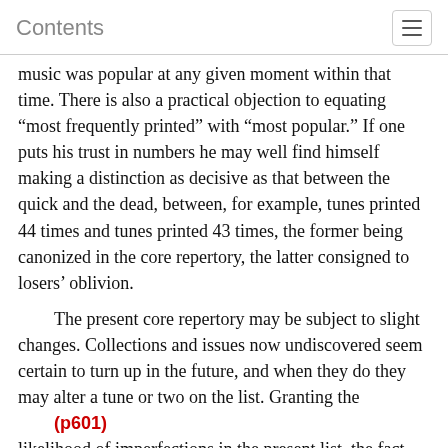Contents
music was popular at any given moment within that time. There is also a practical objection to equating “most frequently printed” with “most popular.” If one puts his trust in numbers he may well find himself making a distinction as decisive as that between the quick and the dead, between, for example, tunes printed 44 times and tunes printed 43 times, the former being canonized in the core repertory, the latter consigned to losers’ oblivion.
The present core repertory may be subject to slight changes. Collections and issues now undiscovered seem certain to turn up in the future, and when they do they may alter a tune or two on the list. Granting the
(p601)
likelihood of imperfections in the present list, the fact remains that similar difficulties and possible unfairness are part of any attempt to choose a sample. The